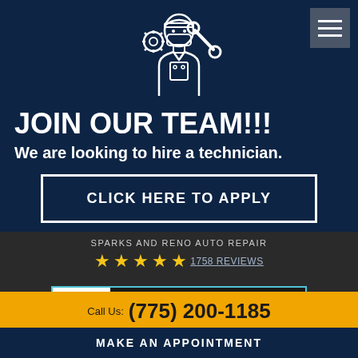[Figure (illustration): Mechanic technician cartoon icon in white outline on navy background, with gears and wrench]
JOIN OUR TEAM!!!
We are looking to hire a technician.
CLICK HERE TO APPLY
SPARKS AND RENO AUTO REPAIR
★★★★★ 1758 REVIEWS
[Figure (logo): RepairPal logo with Get an Estimate button]
Call Us: (775) 200-1185
MAKE AN APPOINTMENT